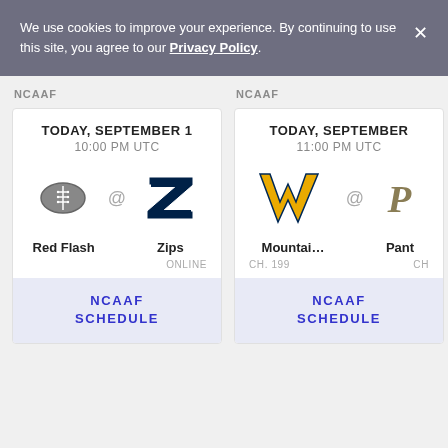We use cookies to improve your experience. By continuing to use this site, you agree to our Privacy Policy.
NCAAF
NCAAF
[Figure (infographic): NCAAF game card: TODAY, SEPTEMBER 1, 10:00 PM UTC. Red Flash vs Zips. ONLINE. NCAAF SCHEDULE button.]
[Figure (infographic): NCAAF game card: TODAY, SEPTEMBER (truncated), 11:00 PM UTC. Mountaineers vs Panthers (truncated). CH. 199. NCAAF SCHEDULE button.]